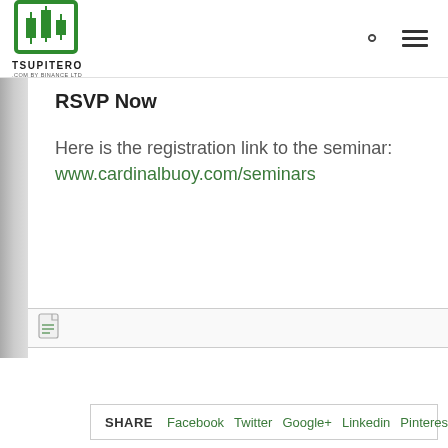[Figure (logo): Tsupitero.com logo with green trading chart icon and text TSUPITERO .COM BY BINANCE LTD]
RSVP Now
Here is the registration link to the seminar: www.cardinalbuoy.com/seminars
[Figure (other): Small document/attachment icon with a horizontal rule line]
SHARE  Facebook  Twitter  Google+  Linkedin  Pinterest